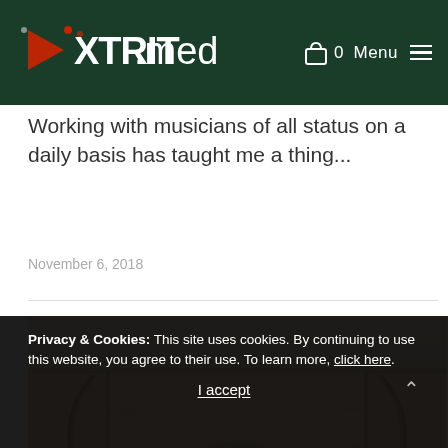XTRIT.media — Menu 0
Working with musicians of all status on a daily basis has taught me a thing...
November 6, 2018
[Figure (photo): Interior wooden structure, possibly inside a guitar or wooden acoustic instrument, showing warm-toned wood panels and curves]
Privacy & Cookies: This site uses cookies. By continuing to use this website, you agree to their use. To learn more, click here.
I accept